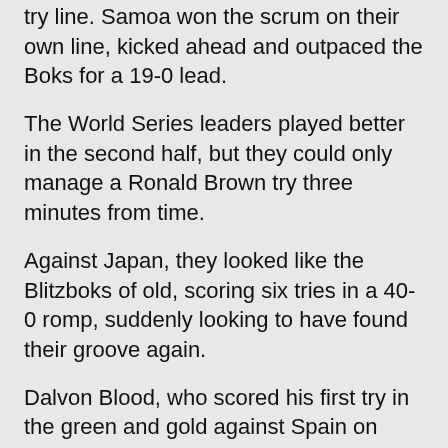try line. Samoa won the scrum on their own line, kicked ahead and outpaced the Boks for a 19-0 lead.
The World Series leaders played better in the second half, but they could only manage a Ronald Brown try three minutes from time.
Against Japan, they looked like the Blitzboks of old, scoring six tries in a 40-0 romp, suddenly looking to have found their groove again.
Dalvon Blood, who scored his first try in the green and gold against Spain on Friday, was full of running and scored a hat-trick, two from delightful footwork and the third when he accelerated trough an outside gap.
Scorers:
South Africa 7 (0): Samoa 19 (19)